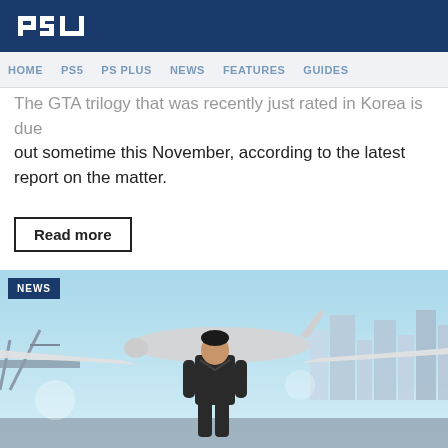PSU
HOME  PS5  PS PLUS  NEWS  FEATURES  GUIDES
The GTA trilogy that was recently just rated in Korea is due out sometime this November, according to the latest report on the matter.
Read more
[Figure (screenshot): A GTA-style video game screenshot showing a male character in a leather jacket standing in front of a large airplane on an airport tarmac with a city skyline in the background. A 'NEWS' badge is overlaid in the top-left corner.]